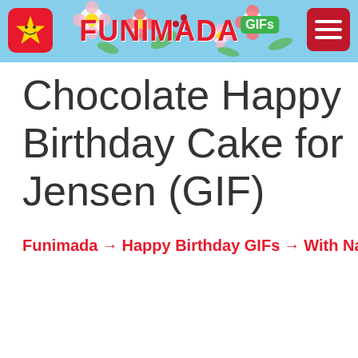[Figure (screenshot): Funimada website header with logo, brand name, flowers decoration, and hamburger menu on light blue background]
Chocolate Happy Birthday Cake for Jensen (GIF)
Funimada → Happy Birthday GIFs → With Name → Jensen